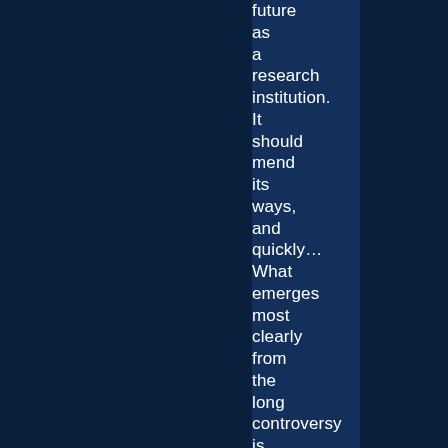future as a research institution. It should mend its ways, and quickly… What emerges most clearly from the long controversy is that